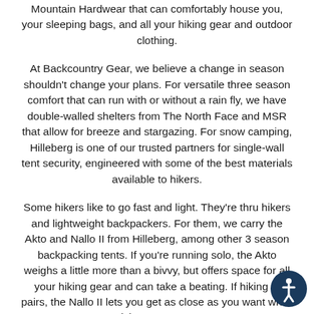Mountain Hardwear that can comfortably house you, your sleeping bags, and all your hiking gear and outdoor clothing.
At Backcountry Gear, we believe a change in season shouldn't change your plans. For versatile three season comfort that can run with or without a rain fly, we have double-walled shelters from The North Face and MSR that allow for breeze and stargazing. For snow camping, Hilleberg is one of our trusted partners for single-wall tent security, engineered with some of the best materials available to hikers.
Some hikers like to go fast and light. They're thru hikers and lightweight backpackers. For them, we carry the Akto and Nallo II from Hilleberg, among other 3 season backpacking tents. If you're running solo, the Akto weighs a little more than a bivvy, but offers space for all your hiking gear and can take a beating. If hiking in pairs, the Nallo II lets you get as close as you want while giving you space.